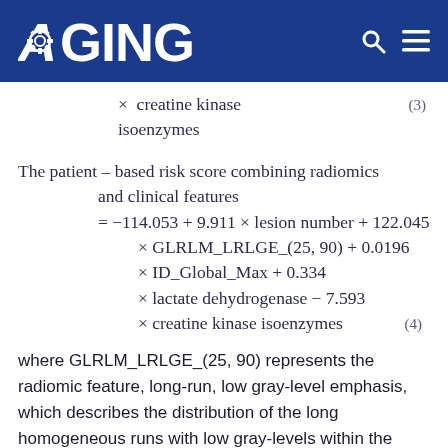AGING
where GLRLM_LRLGE_(25, 90) represents the radiomic feature, long-run, low gray-level emphasis, which describes the distribution of the long homogeneous runs with low gray-levels within the image. The numbers in the brackets represent the